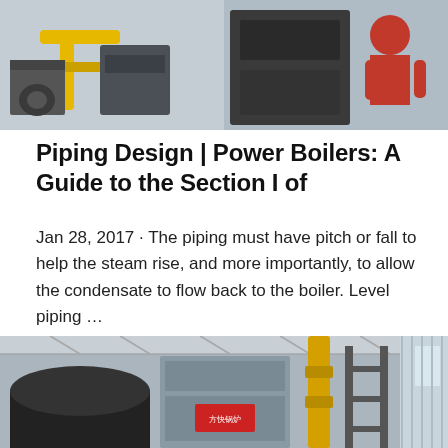[Figure (photo): Industrial boiler piping setup showing yellow gas pipes and a worker in red, factory environment]
Piping Design | Power Boilers: A Guide to the Section I of
Jan 28, 2017 · The piping must have pitch or fall to help the steam rise, and more importantly, to allow the condensate to flow back to the boiler. Level piping …
[Figure (photo): Industrial boiler facility interior showing large boilers with yellow piping, metal framework, and Chinese manufacturer signage]